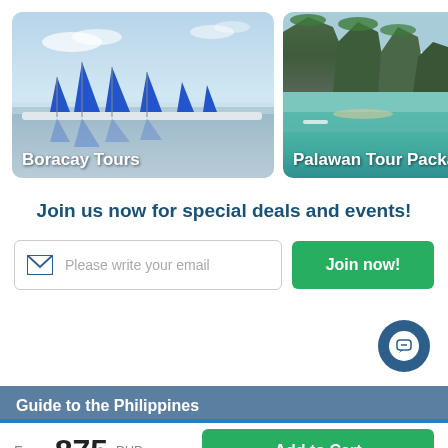[Figure (photo): Photo of Boracay sailboats with blue sails on calm water with sky reflection]
Boracay Tours
[Figure (photo): Aerial photo of Palawan limestone karst cliffs and turquoise water]
Palawan Tour Package
Join us now for special deals and events!
Please write your email
Join now!
Guide to the Philippines
From 875 PHP
Add to Cart